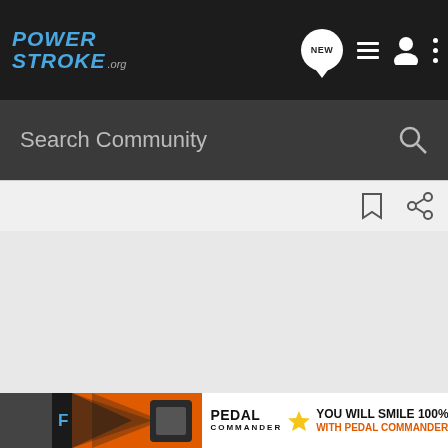[Figure (screenshot): PowerStroke.org mobile website screenshot showing nav bar with logo, search bar, toolbar, blank content area, and Pedal Commander banner ad at bottom]
PowerStroke.org
Search Community
YOU WILL SMILE 100% WITH PEDAL COMMANDER